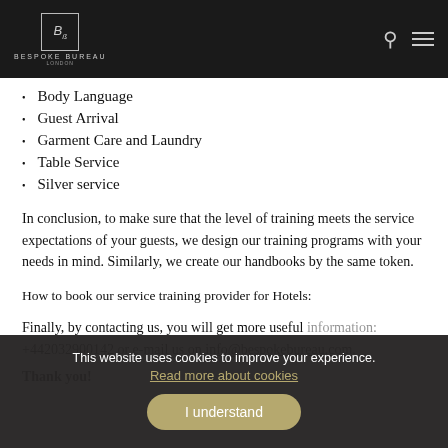Bespoke Bureau London
Body Language
Guest Arrival
Garment Care and Laundry
Table Service
Silver service
In conclusion, to make sure that the level of training meets the service expectations of your guests, we design our training programs with your needs in mind. Similarly, we create our handbooks by the same token.
How to book our service training provider for Hotels:
Finally, by contacting us, you will get more useful information: +442032900142 or e-mail us on info@bespokebureau.com.
Thank you!
This website uses cookies to improve your experience. Read more about cookies